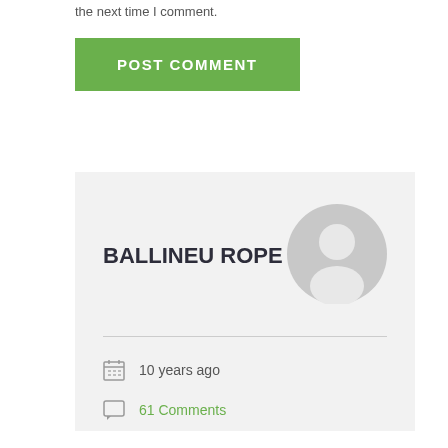the next time I comment.
POST COMMENT
BALLINEUROPE
[Figure (illustration): Default user avatar - circular grey silhouette of a person on a lighter grey circular background]
10 years ago
61 Comments